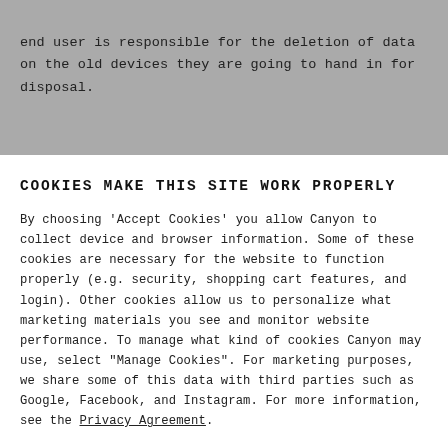end user is responsible for the deletion of data on the old devices they are going to hand in for disposal.
COOKIES MAKE THIS SITE WORK PROPERLY
By choosing 'Accept Cookies' you allow Canyon to collect device and browser information. Some of these cookies are necessary for the website to function properly (e.g. security, shopping cart features, and login). Other cookies allow us to personalize what marketing materials you see and monitor website performance. To manage what kind of cookies Canyon may use, select "Manage Cookies". For marketing purposes, we share some of this data with third parties such as Google, Facebook, and Instagram. For more information, see the Privacy Agreement.
Accept Cookies
Manage Cookies